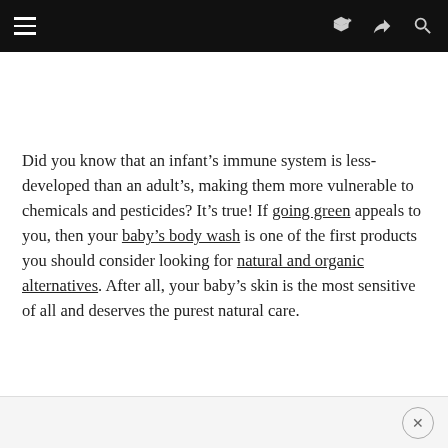Navigation bar with hamburger menu, share icon, and search icon
Did you know that an infant’s immune system is less-developed than an adult’s, making them more vulnerable to chemicals and pesticides? It’s true! If going green appeals to you, then your baby’s body wash is one of the first products you should consider looking for natural and organic alternatives. After all, your baby’s skin is the most sensitive of all and deserves the purest natural care.
Ad close button